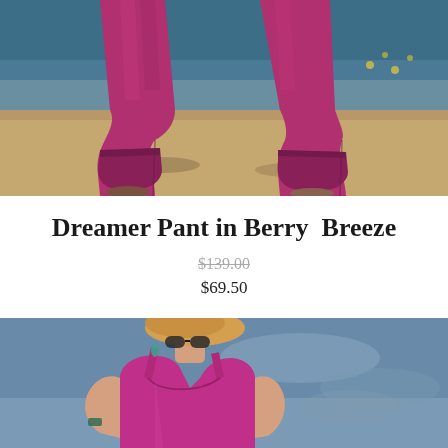[Figure (photo): Close-up photo of lower legs and feet wearing berry/magenta-colored jogger pants with cuffed ankles, person standing on sandy/concrete ground near water with yellow wildflowers in background]
Dreamer Pant in Berry Breeze
$139.00 (strikethrough original price)
$69.50
[Figure (photo): Photo of a woman with blonde hair wearing sunglasses and a bright magenta/pink athletic tank top, outdoors with a blurred blue sky background]